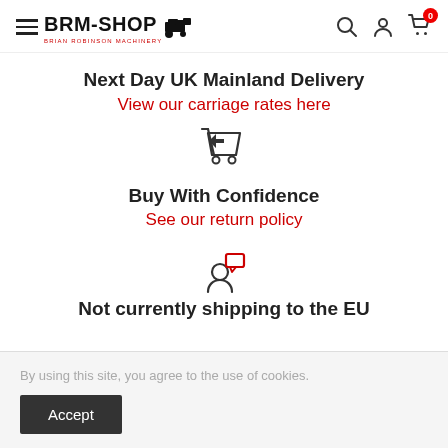BRM-SHOP | BRIAN ROBINSON MACHINERY
Next Day UK Mainland Delivery
View our carriage rates here
[Figure (illustration): Return/shopping cart icon with arrow]
Buy With Confidence
See our return policy
[Figure (illustration): Person with speech bubble icon]
Not currently shipping to the EU
By using this site, you agree to the use of cookies.
Accept